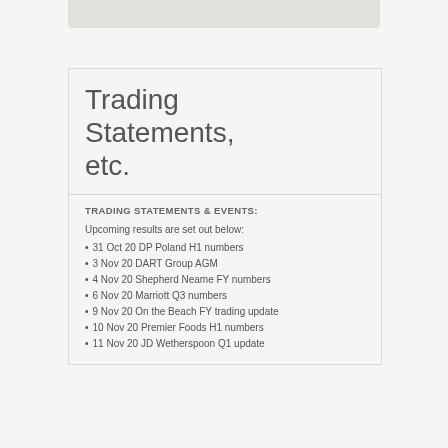Trading Statements, etc.
TRADING STATEMENTS & EVENTS:
Upcoming results are set out below:
31 Oct 20 DP Poland H1 numbers
3 Nov 20 DART Group AGM
4 Nov 20 Shepherd Neame FY numbers
6 Nov 20 Marriott Q3 numbers
9 Nov 20 On the Beach FY trading update
10 Nov 20 Premier Foods H1 numbers
11 Nov 20 JD Wetherspoon Q1 update